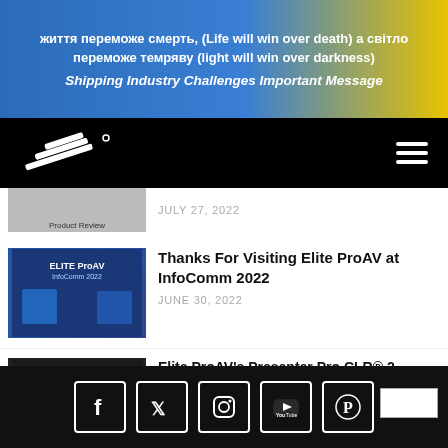життя переможе смерть, (Life will win over death) а світло переможе темряву (light will win over darkness)
Shipping Industry Challenges Important Message
[Figure (logo): Elite Screens logo in white on black navbar with hamburger menu icon]
JULY 27, 2022
Thanks For Visiting Elite ProAV at InfoComm 2022
JUNE 30, 2022
Elite ProAV's Presenter Pro CLR® 2 Series Wins Projector Central 2022 InfoComm Best of Show Award
JUNE 13, 2022
CEDIA Expo 2022
MAY 23, 2022
Social media icons: Facebook, Twitter, Instagram, YouTube, Pinterest